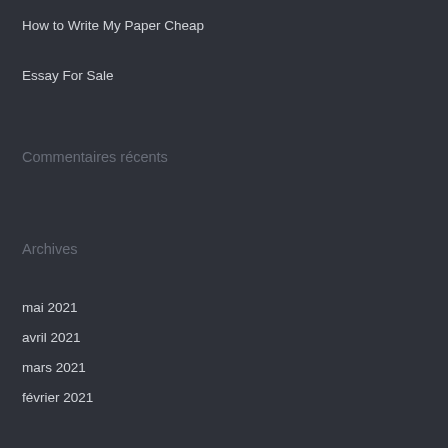How to Write My Paper Cheap
Essay For Sale
Commentaires récents
Archives
mai 2021
avril 2021
mars 2021
février 2021
janvier 2021
décembre 2020
novembre 2020
octobre 2020